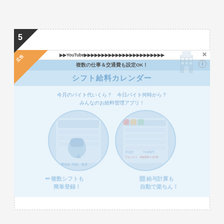5
[Figure (screenshot): Advertisement screenshot for a shift salary calendar app. Shows a banner with YouTube link text, subtitle '複数の仕事＆交通費も設定OK！', and main title 'シフト給料カレンダー'. Below shows app tagline '今月のバイト代いくら？ 今日バイト何時から？ みんなのお給料管理アプリ！' with two circular screenshots of the app UI and labels '複数シフトも 簡単登録！' and '給与計算も 自動で楽ちん！'. An orange corner ribbon is visible. There is a close X button and info icon in the top right.]